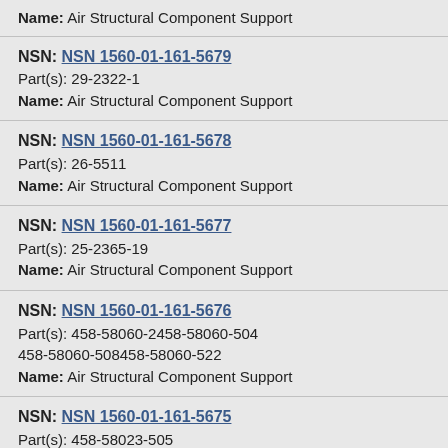Name: Air Structural Component Support
NSN: NSN 1560-01-161-5679
Part(s): 29-2322-1
Name: Air Structural Component Support
NSN: NSN 1560-01-161-5678
Part(s): 26-5511
Name: Air Structural Component Support
NSN: NSN 1560-01-161-5677
Part(s): 25-2365-19
Name: Air Structural Component Support
NSN: NSN 1560-01-161-5676
Part(s): 458-58060-2458-58060-504
458-58060-508458-58060-522
Name: Air Structural Component Support
NSN: NSN 1560-01-161-5675
Part(s): 458-58023-505